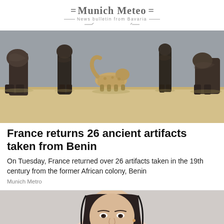Munich Meteo — News bulletin from Bavaria
[Figure (photo): Several ancient animal figurines/sculptures displayed on a light wooden surface against a gray background. The sculptures appear dark and weathered, depicting animal legs and bodies.]
France returns 26 ancient artifacts taken from Benin
On Tuesday, France returned over 26 artifacts taken in the 19th century from the former African colony, Benin
Munich Metro
[Figure (photo): Partial photo of a young woman with dark hair, visible from approximately chin/neck upward, against a light gray background.]